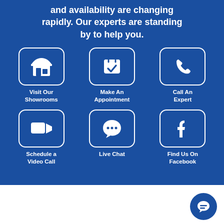and availability are changing rapidly. Our experts are standing by to help you.
[Figure (infographic): Six action buttons in a 3x2 grid on blue background: Visit Our Showrooms (store icon), Make An Appointment (calendar checkmark icon), Call An Expert (phone icon), Schedule a Video Call (video camera icon), Live Chat (speech bubble icon), Find Us On Facebook (Facebook icon)]
[Figure (infographic): Floating circular chat button with speech bubble icon at bottom right]